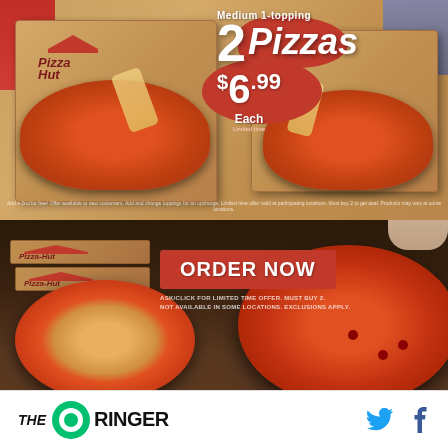[Figure (photo): Pizza Hut advertisement. Top half shows two open Pizza Hut boxes with pepperoni pizzas on a wooden surface, with promotional text overlay: '2 Medium 1-topping Pizzas $6.99 Each'. Bottom half shows stacked Pizza Hut boxes and two pizzas with 'ORDER NOW' button and fine print: 'ASK/CLICK FOR LIMITED TIME OFFER. MUST BUY 2. NOT AVAILABLE IN SOME LOCATIONS. EXCLUSIONS APPLY.']
THE RINGER